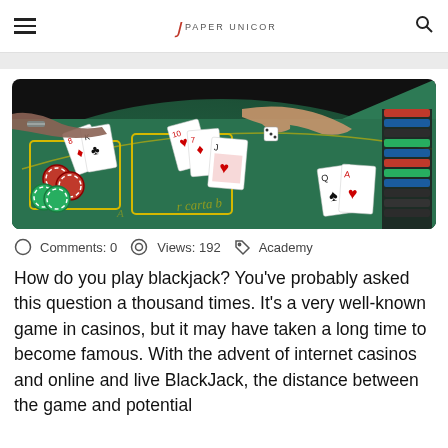Paper Unicorn — navigation header with hamburger menu and search icon
[Figure (photo): Close-up photo of a blackjack casino table with green felt, playing cards, red and green poker chips, and a dealer's hand pointing at cards. Yellow outlines mark betting areas.]
Comments: 0   Views: 192   Academy
How do you play blackjack? You've probably asked this question a thousand times. It's a very well-known game in casinos, but it may have taken a long time to become famous. With the advent of internet casinos and online and live BlackJack, the distance between the game and potential